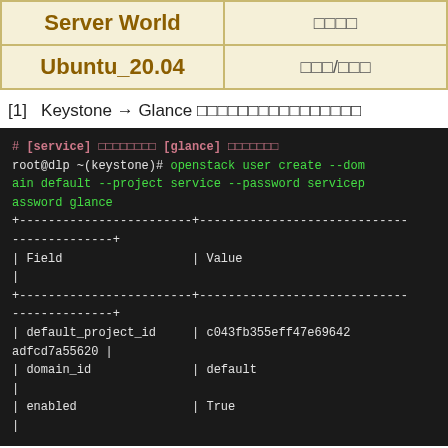| Server World | 　　 |
| Ubuntu_20.04 | 　　/　　 |
[1]   Keystone → Glance
[Figure (screenshot): Terminal/shell code block showing openstack user create command and its output table with fields: default_project_id, domain_id, enabled]